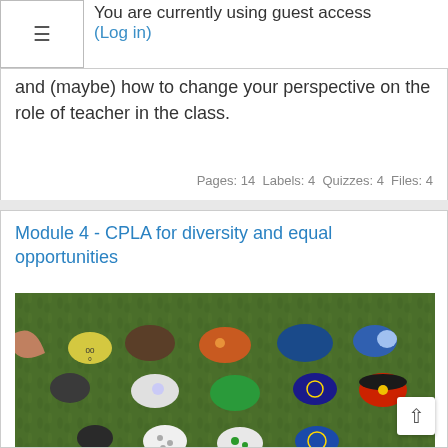You are currently using guest access (Log in)
and (maybe) how to change your perspective on the role of teacher in the class.
Pages: 14  Labels: 4  Quizzes: 4  Files: 4
Module 4 - CPLA for diversity and equal opportunities
[Figure (photo): Colorful painted stones/pebbles arranged on grass, photographed from above]